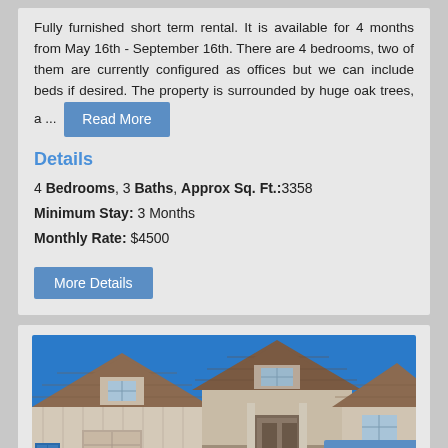Fully furnished short term rental. It is available for 4 months from May 16th - September 16th. There are 4 bedrooms, two of them are currently configured as offices but we can include beds if desired. The property is surrounded by huge oak trees, a ... Read More
Details
4 Bedrooms, 3 Baths, Approx Sq. Ft.:3358
Minimum Stay: 3 Months
Monthly Rate: $4500
[Figure (photo): Exterior photo of a house with brown/tan roof, gabled dormers, stone accents, and blue sky background. Live Chat button overlay in bottom right.]